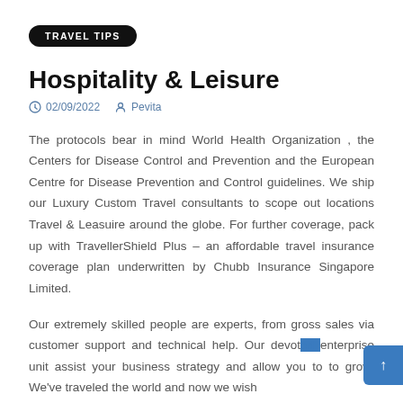TRAVEL TIPS
Hospitality & Leisure
02/09/2022  Pevita
The protocols bear in mind World Health Organization , the Centers for Disease Control and Prevention and the European Centre for Disease Prevention and Control guidelines. We ship our Luxury Custom Travel consultants to scope out locations Travel & Leasuire around the globe. For further coverage, pack up with TravellerShield Plus – an affordable travel insurance coverage plan underwritten by Chubb Insurance Singapore Limited.
Our extremely skilled people are experts, from gross sales via customer support and technical help. Our devoted enterprise unit assist your business strategy and allow you to to grow. We've traveled the world and now we wish